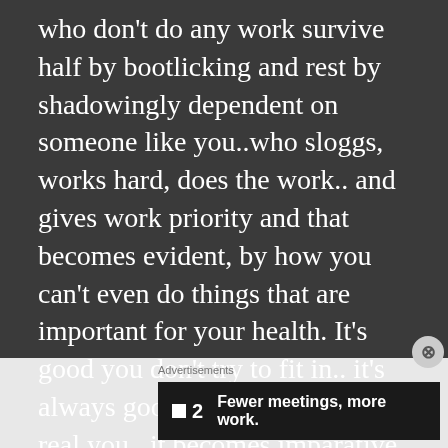who don't do any work survive half by bootlicking and rest by shadowingly dependent on someone like you..who sloggs, works hard, does the work.. and gives work priority and that becomes evident, by how you can't even do things that are important for your health. It's good you don't try to fit in.. it's always good and best to be the real you...it becomes imparative to be the real you..in world full of fakes..
Advertisements
[Figure (other): Advertisement banner with logo showing a square icon and '2', with text 'Fewer meetings, more work.' on dark background]